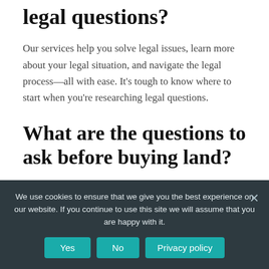legal questions?
Our services help you solve legal issues, learn more about your legal situation, and navigate the legal process—all with ease. It's tough to know where to start when you're researching legal questions.
What are the questions to ask before buying land?
We use cookies to ensure that we give you the best experience on our website. If you continue to use this site we will assume that you are happy with it.